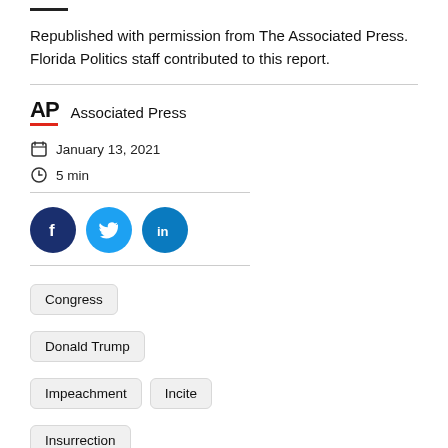Republished with permission from The Associated Press. Florida Politics staff contributed to this report.
[Figure (logo): AP (Associated Press) logo with red underline and text 'Associated Press']
January 13, 2021
5 min
[Figure (infographic): Social share buttons: Facebook (dark blue circle with f), Twitter (blue circle with bird), LinkedIn (blue circle with in)]
Congress
Donald Trump
Impeachment
Incite
Insurrection